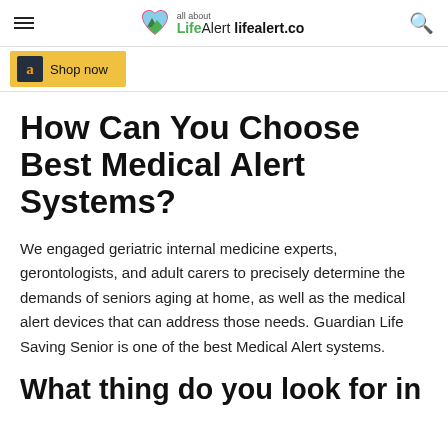Life Alert — all about lifealert.co
[Figure (other): Amazon 'Shop now' advertisement banner with yellow background and Amazon logo]
How Can You Choose Best Medical Alert Systems?
We engaged geriatric internal medicine experts, gerontologists, and adult carers to precisely determine the demands of seniors aging at home, as well as the medical alert devices that can address those needs. Guardian Life Saving Senior is one of the best Medical Alert systems.
What thing do you look for in